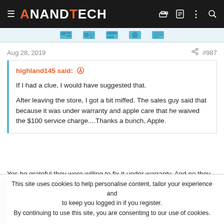AnandTech
Aug 28, 2019  #987
highland145 said:
If I had a clue, I would have suggested that.

After leaving the store, I got a bit miffed. The sales guy said that because it was under warranty and apple care that he waived the $100 service charge....Thanks a bunch, Apple.
Yes be grateful they were willing to fix it under warranty. And no they
This site uses cookies to help personalise content, tailor your experience and to keep you logged in if you register.
By continuing to use this site, you are consenting to our use of cookies.